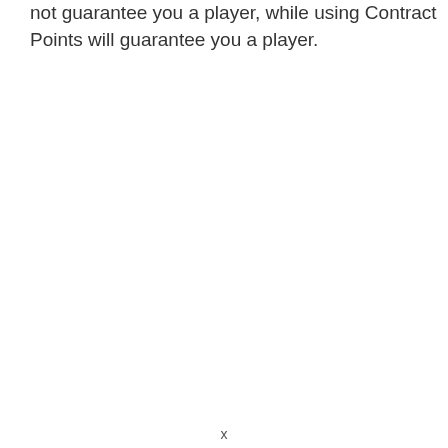not guarantee you a player, while using Contract Points will guarantee you a player.
x